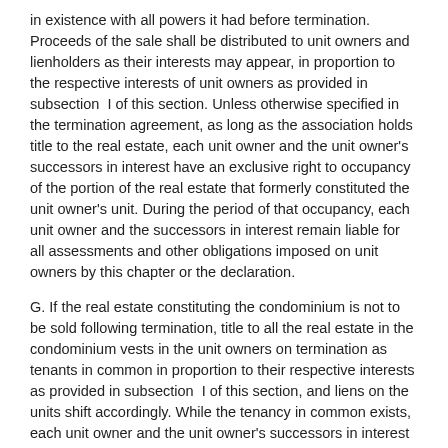in existence with all powers it had before termination. Proceeds of the sale shall be distributed to unit owners and lienholders as their interests may appear, in proportion to the respective interests of unit owners as provided in subsection  I of this section. Unless otherwise specified in the termination agreement, as long as the association holds title to the real estate, each unit owner and the unit owner's successors in interest have an exclusive right to occupancy of the portion of the real estate that formerly constituted the unit owner's unit. During the period of that occupancy, each unit owner and the successors in interest remain liable for all assessments and other obligations imposed on unit owners by this chapter or the declaration.
G. If the real estate constituting the condominium is not to be sold following termination, title to all the real estate in the condominium vests in the unit owners on termination as tenants in common in proportion to their respective interests as provided in subsection  I of this section, and liens on the units shift accordingly. While the tenancy in common exists, each unit owner and the unit owner's successors in interest have an exclusive right to occupancy of the portion of the real estate that formerly constituted the unit owner's unit.
H. Following termination of the condominium, the proceeds of any sale of real estate, together with the assets of the association, are held by the association as trustee for unit owners and holders of liens on the units as their interests may appear. Following termination, creditors of the association holding liens on the units that were recorded before termination may enforce